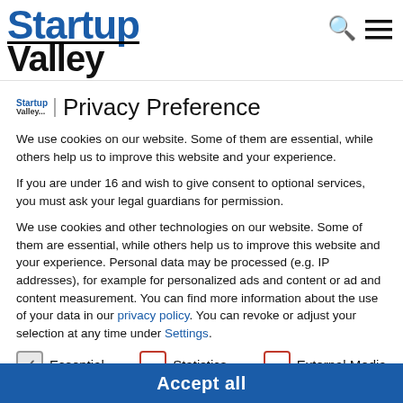Startup Valley
Privacy Preference
We use cookies on our website. Some of them are essential, while others help us to improve this website and your experience.
If you are under 16 and wish to give consent to optional services, you must ask your legal guardians for permission.
We use cookies and other technologies on our website. Some of them are essential, while others help us to improve this website and your experience. Personal data may be processed (e.g. IP addresses), for example for personalized ads and content or ad and content measurement. You can find more information about the use of your data in our privacy policy. You can revoke or adjust your selection at any time under Settings.
Essential
Statistics
External Media